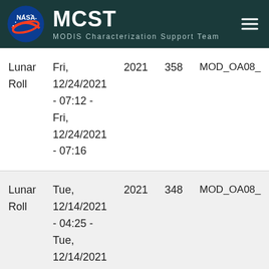MCST MODIS Characterization Support Team
| Type | Date/Time | Year | Day | Product |
| --- | --- | --- | --- | --- |
| Lunar Roll | Fri, 12/24/2021 - 07:12 - Fri, 12/24/2021 - 07:16 | 2021 | 358 | MOD_OA08_ |
| Lunar Roll | Tue, 12/14/2021 - 04:25 - Tue, 12/14/2021 - 04:29 | 2021 | 348 | MOD_OA08_ |
| Lunar Roll | Wed, ... | 2021 | 328 | MOD_OA08_ |